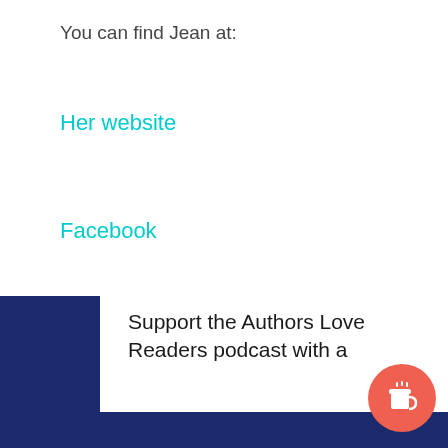You can find Jean at:
Her website
Facebook
Instagram
TikTok
and
Twitter
Support the Authors Love Readers podcast with a